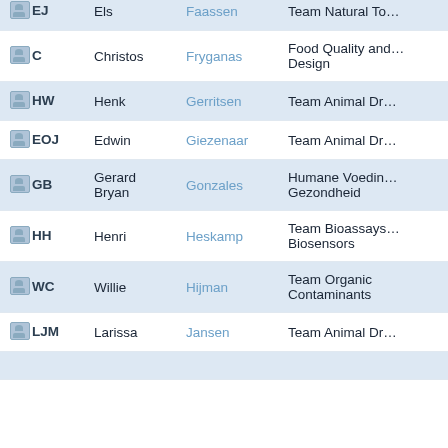| Initials | First Name | Last Name | Team |
| --- | --- | --- | --- |
| EJ | Els | Faassen | Team Natural To… |
| C | Christos | Fryganas | Food Quality and… Design |
| HW | Henk | Gerritsen | Team Animal Dr… |
| EOJ | Edwin | Giezenaar | Team Animal Dr… |
| GB | Gerard Bryan | Gonzales | Humane Voedin… Gezondheid |
| HH | Henri | Heskamp | Team Bioassays… Biosensors |
| WC | Willie | Hijman | Team Organic Contaminants |
| LJM | Larissa | Jansen | Team Animal Dr… |